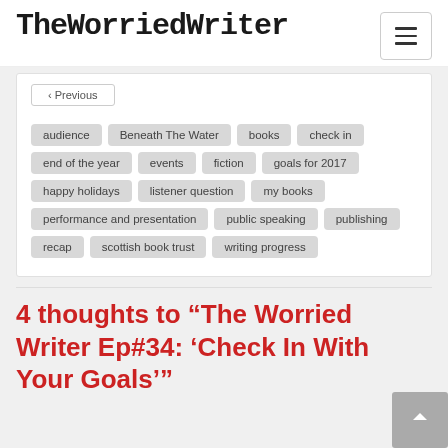TheWorriedWriter
audience
Beneath The Water
books
check in
end of the year
events
fiction
goals for 2017
happy holidays
listener question
my books
performance and presentation
public speaking
publishing
recap
scottish book trust
writing progress
4 thoughts to “The Worried Writer Ep#34: ‘Check In With Your Goals’”